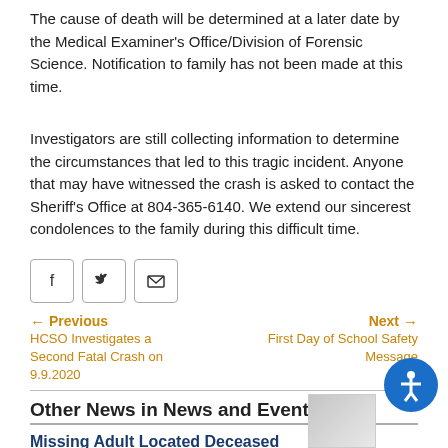The cause of death will be determined at a later date by the Medical Examiner's Office/Division of Forensic Science. Notification to family has not been made at this time.
Investigators are still collecting information to determine the circumstances that led to this tragic incident. Anyone that may have witnessed the crash is asked to contact the Sheriff's Office at 804-365-6140. We extend our sincerest condolences to the family during this difficult time.
[Figure (other): Social sharing icons: Facebook, Twitter, Email]
Previous
HCSO Investigates a Second Fatal Crash on 9.9.2020
Next
First Day of School Safety Message
Other News in News and Events
Missing Adult Located Deceased